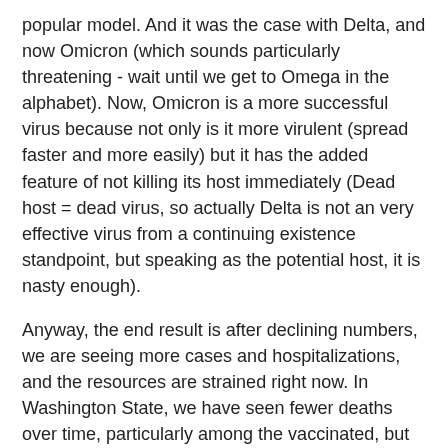popular model. And it was the case with Delta, and now Omicron (which sounds particularly threatening - wait until we get to Omega in the alphabet). Now, Omicron is a more successful virus because not only is it more virulent (spread faster and more easily) but it has the added feature of not killing its host immediately (Dead host = dead virus, so actually Delta is not an very effective virus from a continuing existence standpoint, but speaking as the potential host, it is nasty enough).
Anyway, the end result is after declining numbers, we are seeing more cases and hospitalizations, and the resources are strained right now. In Washington State, we have seen fewer deaths over time, particularly among the vaccinated, but still have hit 1 million cases and 10,000 overall deaths (WA's population is 7.6 million). And people are saying it is going to get worse in the next couple weeks.
And why? Well, part of it is because Omicron is better adapted to its environment. But part of it is because we've gotten tired of it. We want to go out. We want to go back to work. We want the kids back in school. We want to put this